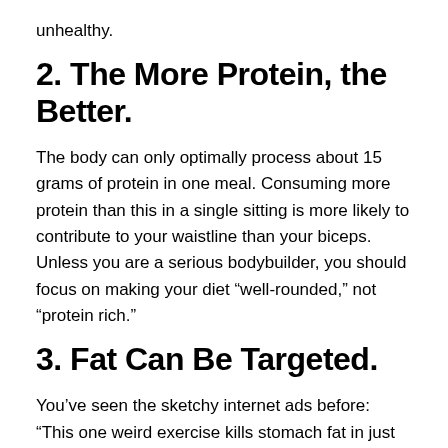unhealthy.
2. The More Protein, the Better.
The body can only optimally process about 15 grams of protein in one meal. Consuming more protein than this in a single sitting is more likely to contribute to your waistline than your biceps. Unless you are a serious bodybuilder, you should focus on making your diet “well-rounded,” not “protein rich.”
3. Fat Can Be Targeted.
You’ve seen the sketchy internet ads before: “This one weird exercise kills stomach fat in just two days!” Newsflash: no exercise is going to cause a significant fat